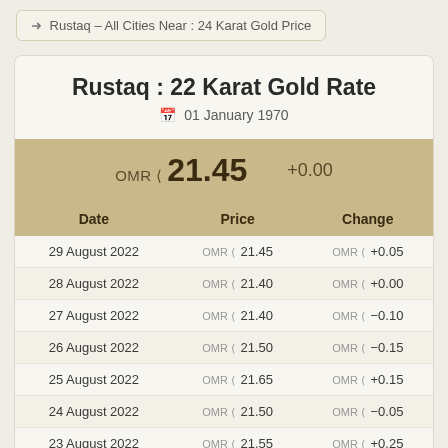Rustaq – All Cities Near : 24 Karat Gold Price
Rustaq : 22 Karat Gold Rate
01 January 1970
OMR 21.45  +0.00
| Date | Price | Change |
| --- | --- | --- |
| 29 August 2022 | OMR 21.45 | OMR +0.05 |
| 28 August 2022 | OMR 21.40 | OMR +0.00 |
| 27 August 2022 | OMR 21.40 | OMR -0.10 |
| 26 August 2022 | OMR 21.50 | OMR -0.15 |
| 25 August 2022 | OMR 21.65 | OMR +0.15 |
| 24 August 2022 | OMR 21.50 | OMR -0.05 |
| 23 August 2022 | OMR 21.55 | OMR +0.25 |
| 22 August 2022 | OMR 21.30 | OMR -0.20 |
| 21 August 2022 | OMR 21.50 | OMR +0.00 |